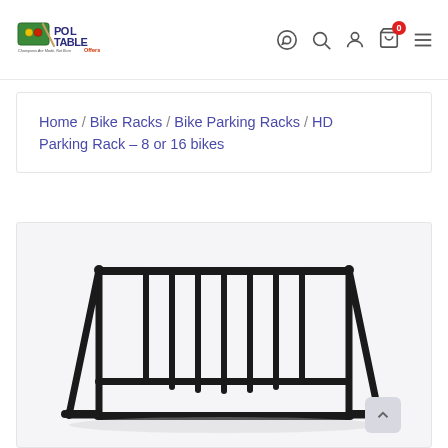Pool Table Offers — site header with logo and nav icons (WhatsApp, Search, Account, Cart (0), Menu)
Home / Bike Racks / Bike Parking Racks / HD Parking Rack – 8 or 16 bikes
[Figure (photo): HD Parking Rack – black powder-coated steel bike parking rack that holds 8 or 16 bikes, shown at an angle on a white/light grey background.]